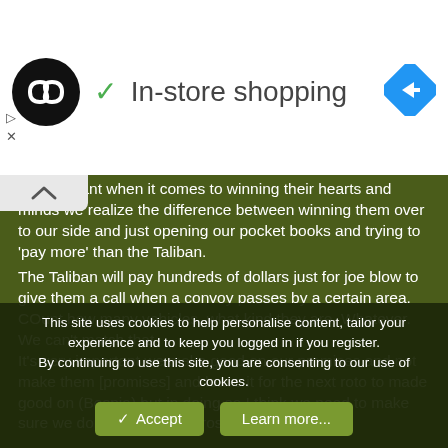[Figure (logo): Ad banner with circular black logo with infinity-like symbol, checkmark, 'In-store shopping' text, and blue navigation diamond icon]
t's important when it comes to winning their hearts and minds we realize the difference between winning them over to our side and just opening our pocket books and trying to 'pay more' than the Taliban.
The Taliban will pay hundreds of dollars just for joe blow to give them a call when a convoy passes by a certain area. COunt how many vehicles, what kind they are. Whatever.
We can't match that.
It's very important we make good on our promises and not make them [promises] and leave it for the next roto to made good on (Bosnia) but in doing so I think we need to make sure we don't just come across as a cash cow.
This site uses cookies to help personalise content, tailor your experience and to keep you logged in if you register.
By continuing to use this site, you are consenting to our use of cookies.